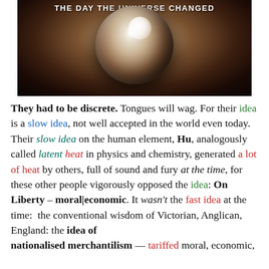[Figure (photo): A crystal ball with bright light reflected inside, dark brown background. Text at top reads 'THE DAY THE UNIVERSE CHANGED'.]
They had to be discrete. Tongues will wag. For their idea is a slow idea, not well accepted in the world even today. Their slow idea on the human element, Hu, analogously called latent heat in physics and chemistry, generated a lot of heat by others, full of sound and fury at the time, for these other people vigorously opposed the idea: On Liberty – moral|economic. It wasn't the fast idea at the time: the conventional wisdom of Victorian, Anglican, England: the idea of nationalised merchantilism — tariffed moral, economic,